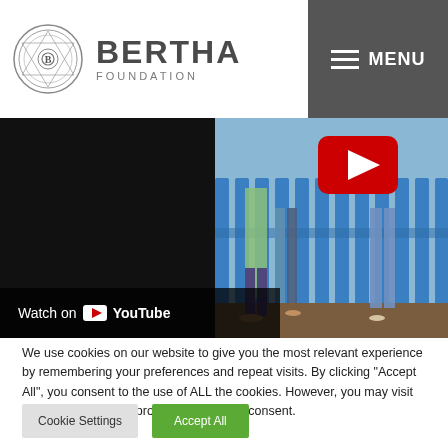Bertha Foundation
[Figure (screenshot): YouTube video embed showing children's legs visible through blue fence slats, with a YouTube play button overlay and 'Watch on YouTube' label at bottom left]
We use cookies on our website to give you the most relevant experience by remembering your preferences and repeat visits. By clicking "Accept All", you consent to the use of ALL the cookies. However, you may visit "Cookie Settings" to provide a controlled consent.
Cookie Settings | Accept All